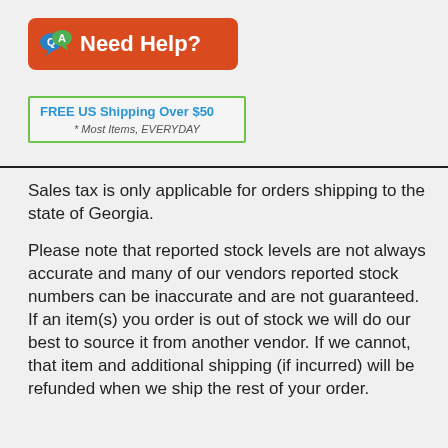[Figure (logo): Red rounded rectangle banner with Q and A speech bubble icons and white text 'Need Help?']
[Figure (infographic): Green-bordered box with blue bold text 'FREE US Shipping Over $50' and italic subtext '* Most Items, EVERYDAY']
Sales tax is only applicable for orders shipping to the state of Georgia.
Please note that reported stock levels are not always accurate and many of our vendors reported stock numbers can be inaccurate and are not guaranteed. If an item(s) you order is out of stock we will do our best to source it from another vendor. If we cannot, that item and additional shipping (if incurred) will be refunded when we ship the rest of your order.